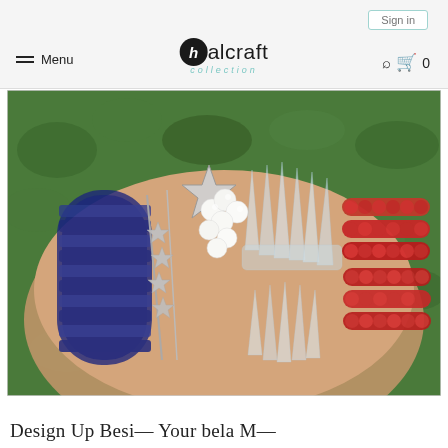Sign in | Menu | halcraft collection | Search | Cart 0
[Figure (photo): Close-up photograph of layered bracelets on a wrist: navy blue stone bracelets on the left, a silver star charm chain bracelet in the center-left, white pearl beads in the center, clear crystal spike/point beads in the center-right, and red coral beaded bracelets on the right. Green foliage background.]
Design Up Besi— Your bela M—